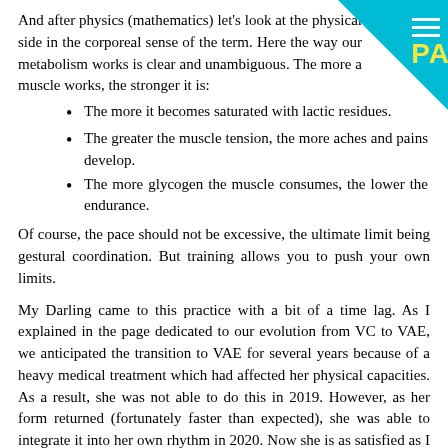And after physics (mathematics) let's look at the physical side in the corporeal sense of the term. Here the way our metabolism works is clear and unambiguous. The more a muscle works, the stronger it is:
The more it becomes saturated with lactic residues.
The greater the muscle tension, the more aches and pains develop.
The more glycogen the muscle consumes, the lower the endurance.
Of course, the pace should not be excessive, the ultimate limit being gestural coordination. But training allows you to push your own limits.
My Darling came to this practice with a bit of a time lag. As I explained in the page dedicated to our evolution from VC to VAE, we anticipated the transition to VAE for several years because of a heavy medical treatment which had affected her physical capacities. As a result, she was not able to do this in 2019. However, as her form returned (fortunately faster than expected), she was able to integrate it into her own rhythm in 2020. Now she is as satisfied as I am with this way of working, and we can't go back.
The drop in heart rate is direct evidence of the lesser fatigue obtained by increasing the pedalling cadence. In 2021 I